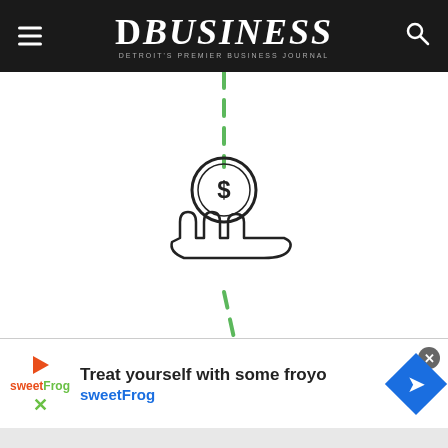DBusiness — Detroit's Premier Business Journal
[Figure (illustration): A dashed vertical green line passing through a hand holding a dollar coin icon, suggesting money/payment flow]
[Figure (infographic): Advertisement banner: 'Treat yourself with some froyo sweetFrog' with sweetFrog logo and navigation icon]